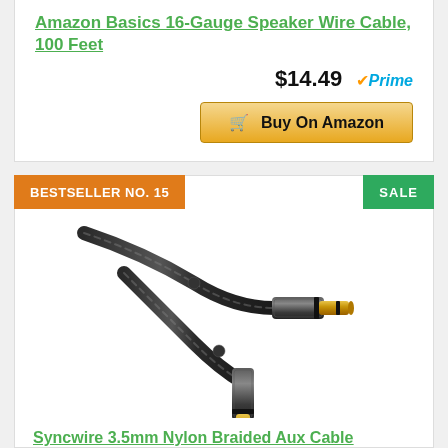Amazon Basics 16-Gauge Speaker Wire Cable, 100 Feet
$14.49 Prime
Buy On Amazon
BESTSELLER NO. 15
SALE
[Figure (photo): Photo of two 3.5mm gold-tipped audio aux cable connectors with black nylon braided cable]
Syncwire 3.5mm Nylon Braided Aux Cable (3.3ft/1m,Hi-Fi Sound), Audio Auxiliary Input Adapter